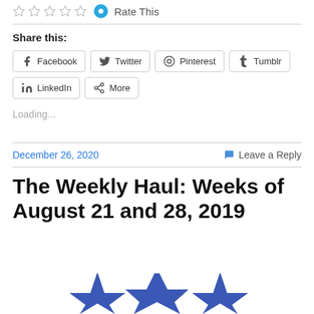[Figure (other): Star rating icons (5 empty stars) and a blue circle icon followed by 'Rate This' text]
Share this:
[Figure (other): Social share buttons: Facebook, Twitter, Pinterest, Tumblr, LinkedIn, More]
Loading...
December 26, 2020
Leave a Reply
The Weekly Haul: Weeks of August 21 and 28, 2019
[Figure (illustration): Partial blue star/burst illustration at bottom of page]